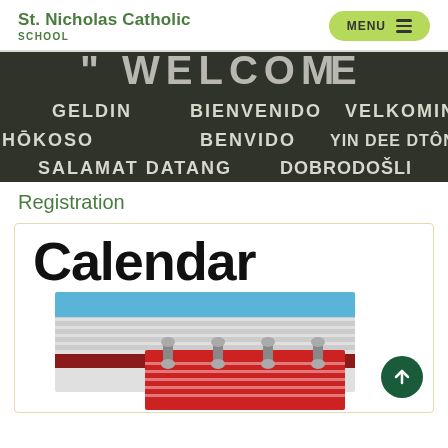St. Nicholas Catholic School
[Figure (photo): Welcome chalkboard sign with greetings in multiple languages including GELDIN, BIENVENIDO, VELKOMIN, HOKOSO, BENVIDO, YIN DEE DTON R, SALAMAT DATANG, DOBRODOSLI]
Registration
[Figure (illustration): Calendar illustration with large bold Calendar text and a decorative calendar graphic showing blue, red, grey and dark red layers with binder rings]